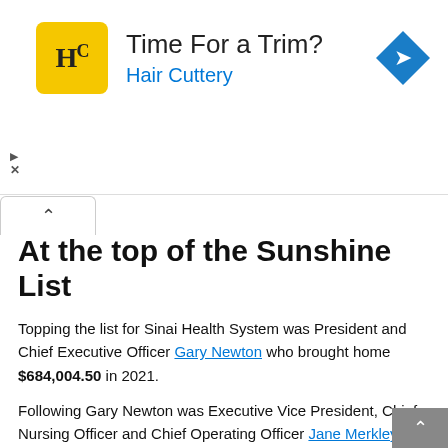[Figure (infographic): Hair Cuttery advertisement banner with yellow logo, headline 'Time For a Trim?' and blue text 'Hair Cuttery' with a blue navigation arrow icon]
At the top of the Sunshine List
Topping the list for Sinai Health System was President and Chief Executive Officer Gary Newton who brought home $684,004.50 in 2021.
Following Gary Newton was Executive Vice President, Chief Nursing Officer and Chief Operating Officer Jane Merkley, who had annual earnings of $464,423.70. Neonatologist-in-Chief Prakeshkumar Shah made $444,697.23, Microbiologist-in-Chief Tony Mazzulli made $437,869.91 and Principal Investigator, Lunenfeld-Tanenbaum Research Institute Stephen Lye round out the top-five highest-paid employees with $434,112.90